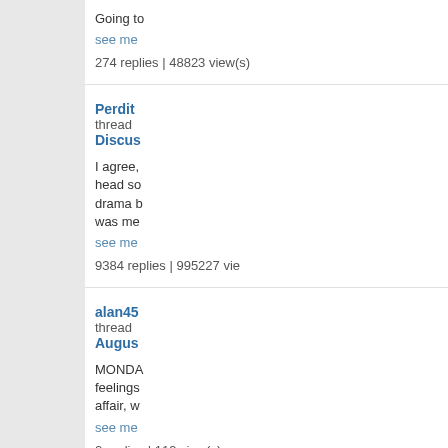Going to
see mo
274 replies | 48823 view(s)
Perdit... thread Discus...
I agree, head so drama b was me
see mo
9384 replies | 995227 vie
alan45... thread Augus...
MONDA feelings affair, w
see mo
2 replies | 119 view(s)